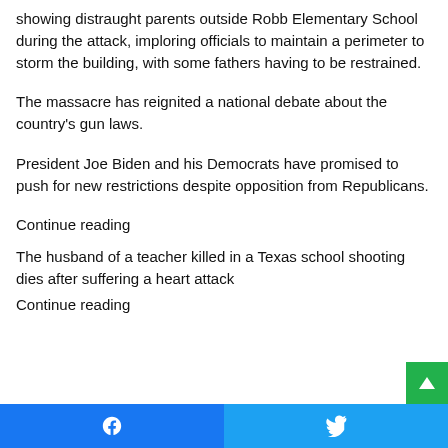showing distraught parents outside Robb Elementary School during the attack, imploring officials to maintain a perimeter to storm the building, with some fathers having to be restrained.
The massacre has reignited a national debate about the country's gun laws.
President Joe Biden and his Democrats have promised to push for new restrictions despite opposition from Republicans.
Continue reading
The husband of a teacher killed in a Texas school shooting dies after suffering a heart attack
Continue reading
Facebook | Twitter